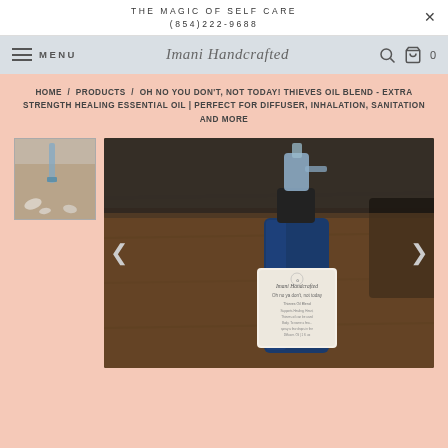THE MAGIC OF SELF CARE
(854)222-9688
MENU  Imani Handcrafted  0
HOME / PRODUCTS / OH NO YOU DON'T, NOT TODAY! THIEVES OIL BLEND - EXTRA STRENGTH HEALING ESSENTIAL OIL | PERFECT FOR DIFFUSER, INHALATION, SANITATION AND MORE
[Figure (photo): Thumbnail image of thieves oil product with dropper on white surface with leaf prints]
[Figure (photo): Main product photo: blue glass spray bottle of Imani Handcrafted Thieves Oil Blend on a wooden table with a dark leather cushion in background]